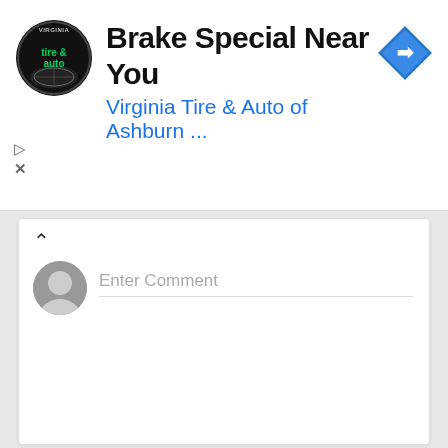[Figure (screenshot): Virginia Tire & Auto advertisement banner with logo, title 'Brake Special Near You', subtitle 'Virginia Tire & Auto of Ashburn ...', and navigation arrow icon]
Enter Comment
[Figure (screenshot): MBA - Business Analytics advertisement with text 'HIGH DEMAND SKILLS ON DEMAND', photo of business school students networking, and orange 'LEARN MORE' button on purple background]